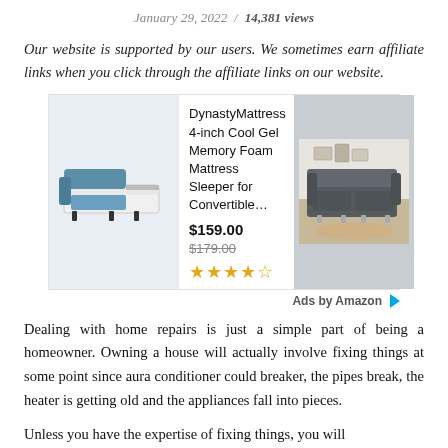January 29, 2022 / 14,381 views
Our website is supported by our users. We sometimes earn affiliate links when you click through the affiliate links on our website.
[Figure (other): Amazon advertisement showing a sofa/sleeper product: DynastyMattress 4-inch Cool Gel Memory Foam Mattress Sleeper for Convertible... priced at $159.00 (was $179.00) with 4.5 star rating, and a second couch image on the right.]
Dealing with home repairs is just a simple part of being a homeowner. Owning a house will actually involve fixing things at some point since aura conditioner could breaker, the pipes break, the heater is getting old and the appliances fall into pieces.
Unless you have the expertise of fixing things, you will